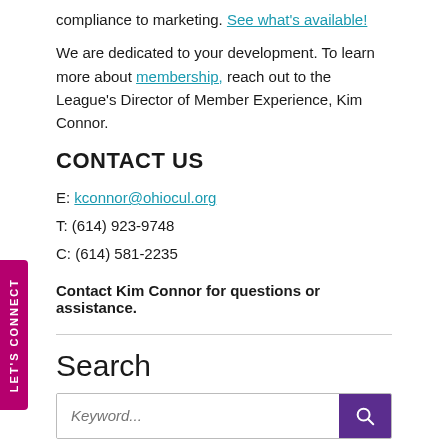compliance to marketing. See what's available!
We are dedicated to your development. To learn more about membership, reach out to the League’s Director of Member Experience, Kim Connor.
CONTACT US
E: kconnor@ohiocul.org
T: (614) 923-9748
C: (614) 581-2235
Contact Kim Connor for questions or assistance.
Search